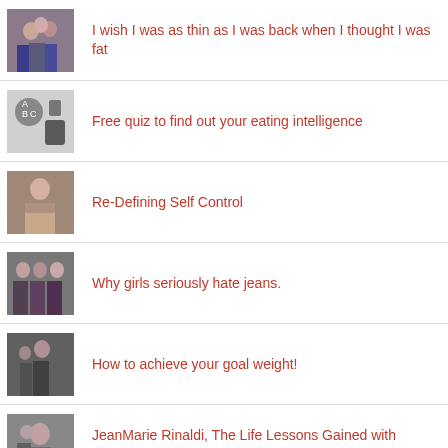I wish I was as thin as I was back when I thought I was fat
Free quiz to find out your eating intelligence
Re-Defining Self Control
Why girls seriously hate jeans.
How to achieve your goal weight!
JeanMarie Rinaldi, The Life Lessons Gained with Pregnancy Weight